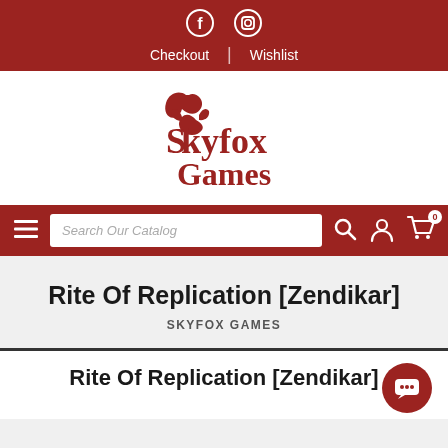Skyfox Games - social icons, Checkout, Wishlist navigation bar
[Figure (logo): Skyfox Games logo with stylized fox and text in dark red/maroon color]
[Figure (screenshot): Search bar with hamburger menu, Search Our Catalog input, search icon, account icon, and cart icon with badge 0]
Rite Of Replication [Zendikar]
SKYFOX GAMES
Rite Of Replication [Zendikar]